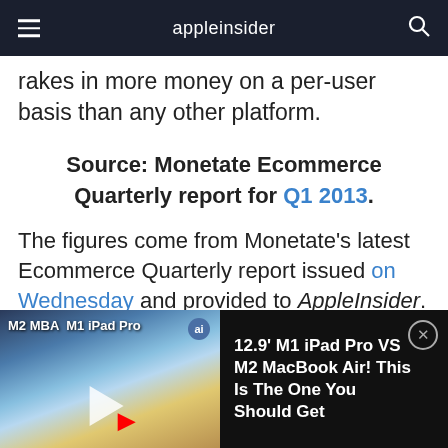appleinsider
rakes in more money on a per-user basis than any other platform.
Source: Monetate Ecommerce Quarterly report for Q1 2013.
The figures come from Monetate's latest Ecommerce Quarterly report issued on Wednesday and provided to AppleInsider. The data culled from the first quarter of calendar...
[Figure (screenshot): Video player bar at bottom showing M2 MBA and M1 iPad Pro thumbnail with play button and YouTube logo, alongside text '12.9' M1 iPad Pro VS M2 MacBook Air! This Is The One You Should Get' with close button]